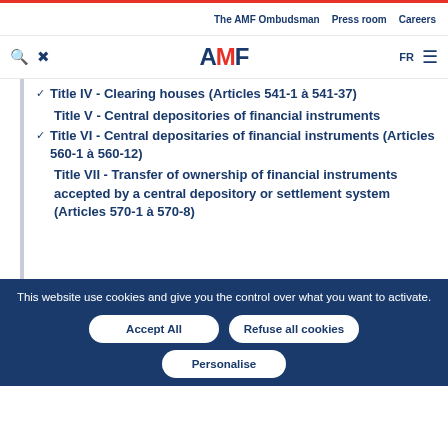The AMF Ombudsman  Press room  Careers
AMF  FR
Title IV - Clearing houses (Articles 541-1 à 541-37)
Title V - Central depositories of financial instruments
Title VI - Central depositaries of financial instruments (Articles 560-1 à 560-12)
Title VII - Transfer of ownership of financial instruments accepted by a central depository or settlement system (Articles 570-1 à 570-8)
This website use cookies and give you the control over what you want to activate.
Accept All
Refuse all cookies
Personalise